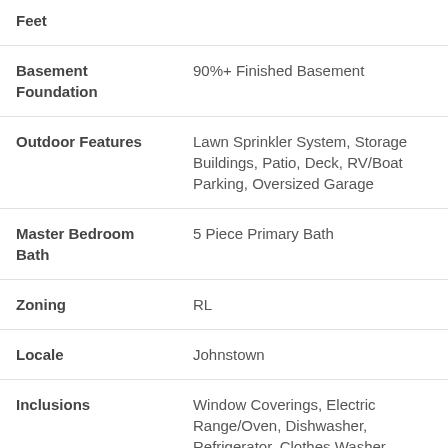| Field | Value |
| --- | --- |
| Feet |  |
| Basement Foundation | 90%+ Finished Basement |
| Outdoor Features | Lawn Sprinkler System, Storage Buildings, Patio, Deck, RV/Boat Parking, Oversized Garage |
| Master Bedroom Bath | 5 Piece Primary Bath |
| Zoning | RL |
| Locale | Johnstown |
| Inclusions | Window Coverings, Electric Range/Oven, Dishwasher, Refrigerator, Clothes Washer, |